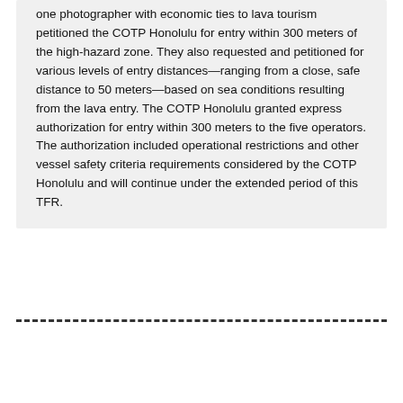one photographer with economic ties to lava tourism petitioned the COTP Honolulu for entry within 300 meters of the high-hazard zone. They also requested and petitioned for various levels of entry distances—ranging from a close, safe distance to 50 meters—based on sea conditions resulting from the lava entry. The COTP Honolulu granted express authorization for entry within 300 meters to the five operators. The authorization included operational restrictions and other vessel safety criteria requirements considered by the COTP Honolulu and will continue under the extended period of this TFR.